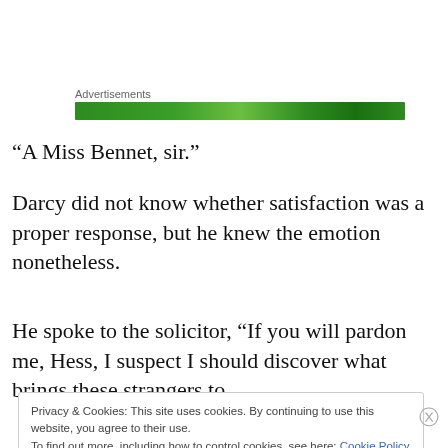Advertisements
[Figure (other): Green advertisement banner]
“A Miss Bennet, sir.”
Darcy did not know whether satisfaction was a proper response, but he knew the emotion nonetheless.
He spoke to the solicitor, “If you will pardon me, Hess, I suspect I should discover what brings these strangers to
Privacy & Cookies: This site uses cookies. By continuing to use this website, you agree to their use.
To find out more, including how to control cookies, see here: Cookie Policy
Close and accept